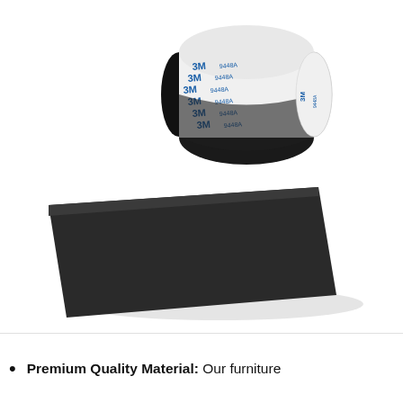[Figure (photo): A roll of black foam or rubber sheet material with 3M adhesive backing. The roll is partially unrolled, showing a white protective liner with repeated '3M 9448A' branding printed in blue text. The black material is flat and smooth on the exposed sheet portion. The image is on a white background.]
Premium Quality Material: Our furniture